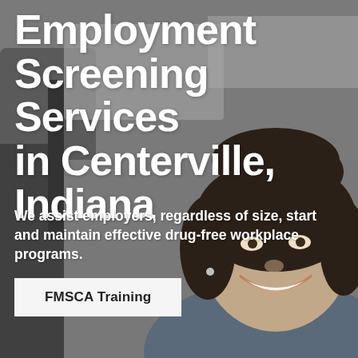[Figure (photo): Background photo of a woman with curly dark hair smiling while sitting in a vehicle, with the vehicle's mirror and window visible. The image is in grayscale/muted tones.]
Employment Screening Services in Centerville, Indiana
We assist employers, regardless of size, start and maintain effective drug-free workplace programs.
FMSCA Training